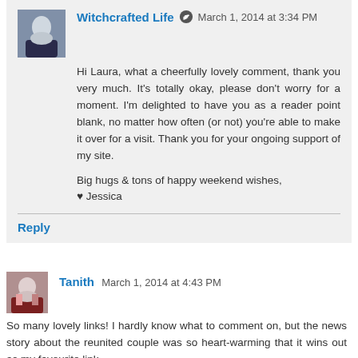Witchcrafted Life [edit icon] March 1, 2014 at 3:34 PM
Hi Laura, what a cheerfully lovely comment, thank you very much. It's totally okay, please don't worry for a moment. I'm delighted to have you as a reader point blank, no matter how often (or not) you're able to make it over for a visit. Thank you for your ongoing support of my site.

Big hugs & tons of happy weekend wishes,
♥ Jessica
Reply
Tanith March 1, 2014 at 4:43 PM
So many lovely links! I hardly know what to comment on, but the news story about the reunited couple was so heart-warming that it wins out as my favourite link.
I hope a lovely spring is headed your way. We have just